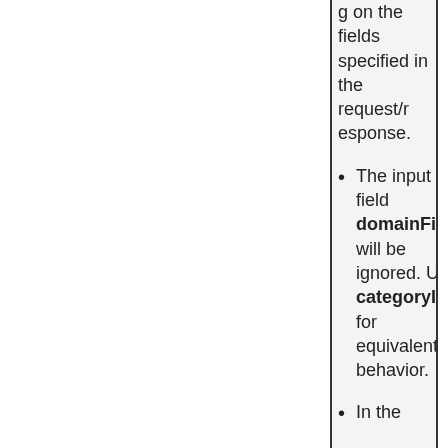depending on the fields specified in the request/response.
The input field domainFilter will be ignored. Use categoryId for equivalent behavior.
In the...